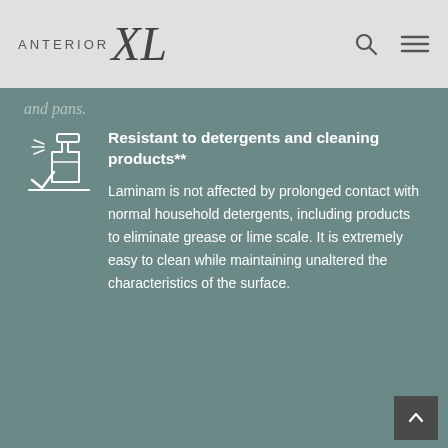ANTERIOR XL
and pans.
Resistant to detergents and cleaning products**
Laminam is not affected by prolonged contact with normal household detergents, including products to eliminate grease or lime scale. It is extremely easy to clean while maintaining unaltered the characteristics of the surface.